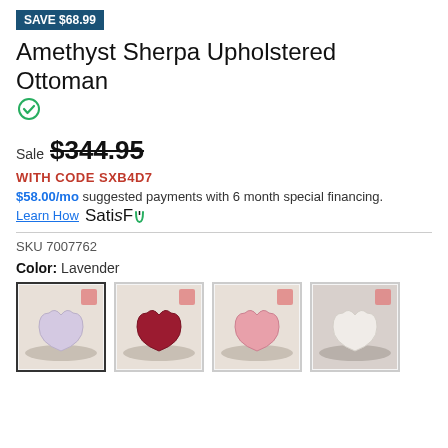SAVE $68.99
Amethyst Sherpa Upholstered Ottoman
Sale $344.95 (strikethrough)
WITH CODE SXB4D7
$58.00/mo suggested payments with 6 month special financing.
Learn How  SatisFi
SKU 7007762
Color: Lavender
[Figure (photo): 4 thumbnail images of heart-shaped ottomans in different colors: lavender/cream, red/burgundy, pink/rose, white]
[Figure (photo): Lavender heart-shaped ottoman (selected, first thumbnail)]
[Figure (photo): Red/burgundy heart-shaped ottoman (second thumbnail)]
[Figure (photo): Pink heart-shaped ottoman (third thumbnail)]
[Figure (photo): White heart-shaped ottoman (fourth thumbnail)]